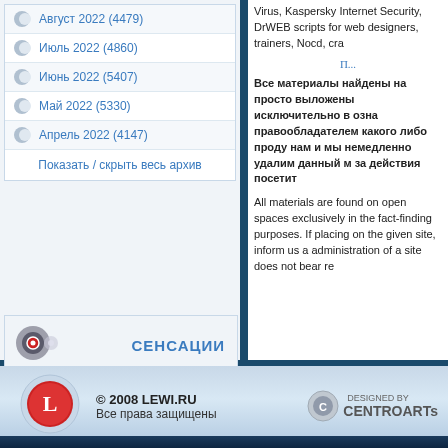Август 2022 (4479)
Июль 2022 (4860)
Июнь 2022 (5407)
Май 2022 (5330)
Апрель 2022 (4147)
Показать / скрыть весь архив
СЕНСАЦИИ
НАШИ ПАРТНЕРЫ
Virus, Kaspersky Internet Security, DrWEB scripts for web designers, trainers, Nocd, cra
Все материалы найдены на просто выложены исключительно в озна правообладателем какого либо проду нам и мы немедленно удалим данный м за действия посетит
All materials are found on open spaces exclusively in the fact-finding purposes. If placing on the given site, inform us a administration of a site does not bear re
© 2008 LEWI.RU Все права защищены
[Figure (logo): LEWI.RU red circular logo with L letter]
[Figure (logo): DESIGNED BY CENTROARTs logo]